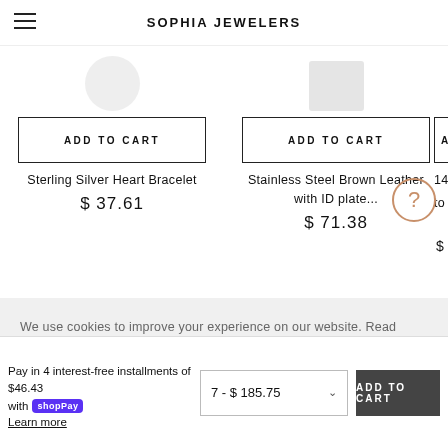SOPHIA JEWELERS
ADD TO CART
Sterling Silver Heart Bracelet
$ 37.61
ADD TO CART
Stainless Steel Brown Leather with ID plate...
$ 71.38
ADD
14K Whit... to 34 :
We use cookies to improve your experience on our website. Read about how we use cookies in our Privacy Policy. By browsing this website, you agree to our use of cookies.
Pay in 4 interest-free installments of $46.43 with Shop Pay Learn more
7 - $ 185.75
ADD TO CART